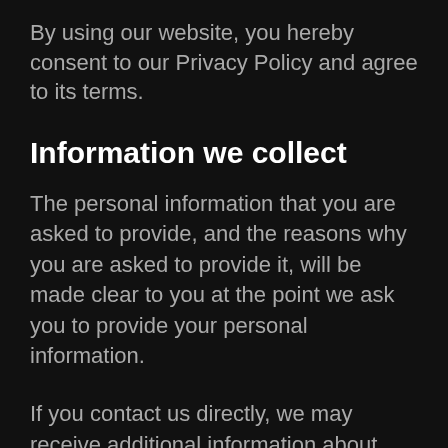By using our website, you hereby consent to our Privacy Policy and agree to its terms.
Information we collect
The personal information that you are asked to provide, and the reasons why you are asked to provide it, will be made clear to you at the point we ask you to provide your personal information.
If you contact us directly, we may receive additional information about you such as your name, email address, phone number, the contents of the message and/or